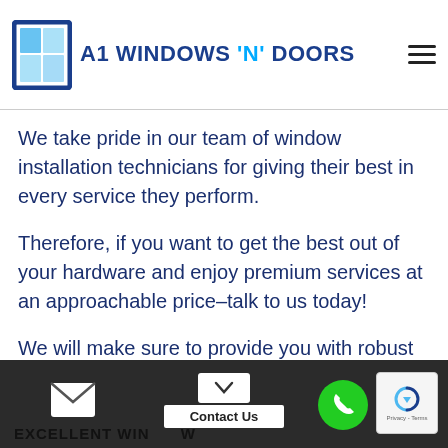A1 WINDOWS 'N' DOORS
...oal is to make sure that we provide your broken ...aged item the proper diagnosis for an appropriate solution.
We take pride in our team of window installation technicians for giving their best in every service they perform.
Therefore, if you want to get the best out of your hardware and enjoy premium services at an approachable price–talk to us today!
We will make sure to provide you with robust and long-lasting solutions to all your window  replacement needs.
EXCELLENT WINDOW  Contact Us